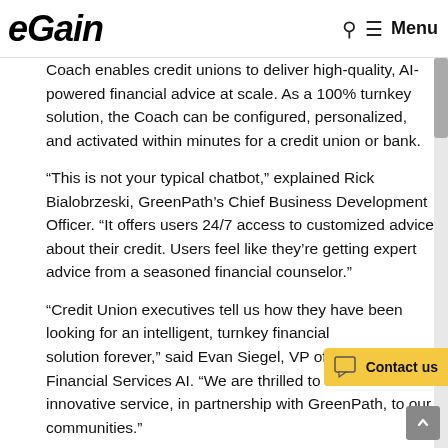eGain — Menu
Coach enables credit unions to deliver high-quality, AI-powered financial advice at scale. As a 100% turnkey solution, the Coach can be configured, personalized, and activated within minutes for a credit union or bank.
“This is not your typical chatbot,” explained Rick Bialobrzeski, GreenPath’s Chief Business Development Officer. “It offers users 24/7 access to customized advice about their credit. Users feel like they’re getting expert advice from a seasoned financial counselor.”
“Credit Union executives tell us how they have been looking for an intelligent, turnkey financial solution forever,” said Evan Siegel, VP of eGain Financial Services AI. “We are thrilled to deliver this innovative service, in partnership with GreenPath, to our communities.”